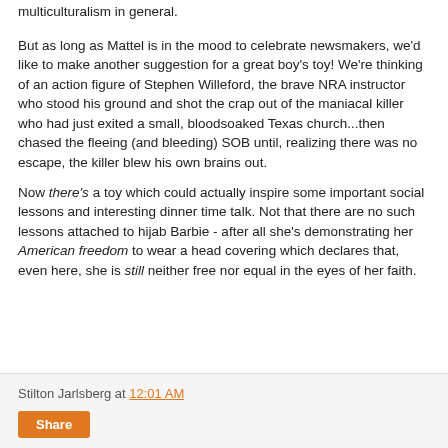multiculturalism in general.
But as long as Mattel is in the mood to celebrate newsmakers, we'd like to make another suggestion for a great boy's toy! We're thinking of an action figure of Stephen Willeford, the brave NRA instructor who stood his ground and shot the crap out of the maniacal killer who had just exited a small, bloodsoaked Texas church...then chased the fleeing (and bleeding) SOB until, realizing there was no escape, the killer blew his own brains out.
Now there's a toy which could actually inspire some important social lessons and interesting dinner time talk. Not that there are no such lessons attached to hijab Barbie - after all she's demonstrating her American freedom to wear a head covering which declares that, even here, she is still neither free nor equal in the eyes of her faith.
Stilton Jarlsberg at 12:01 AM
Share